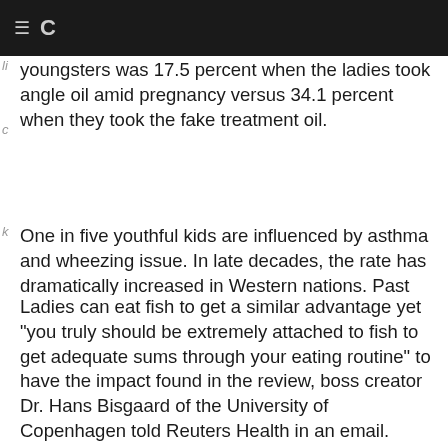C
youngsters was 17.5 percent when the ladies took angle oil amid pregnancy versus 34.1 percent when they took the fake treatment oil.
One in five youthful kids are influenced by asthma and wheezing issue. In late decades, the rate has dramatically increased in Western nations. Past research has demonstrated that those conditions are more predominant among infants whose moms have low levels of fish oil in their bodies. The new substantial scale test, reported in The New England Journal of Medicine, is the first to check whether supplements can really bring down the hazard.
Ladies can eat fish to get a similar advantage yet "you truly should be extremely attached to fish to get adequate sums through your eating routine" to have the impact found in the review, boss creator Dr. Hans Bisgaard of the University of Copenhagen told Reuters Health in an email.